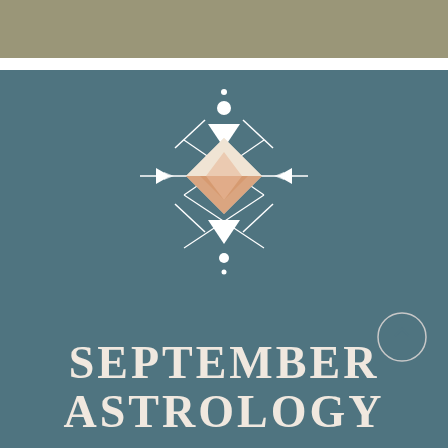[Figure (illustration): Olive/khaki colored horizontal bar at top of page]
[Figure (illustration): Teal/steel blue background panel with geometric boho astrology symbol in center (diamonds, triangles, lines, circles in cream and peach/terracotta colors), large white serif bold text reading SEPTEMBER ASTROLOGY, and a circular scroll-up button icon at right]
SEPTEMBER ASTROLOGY